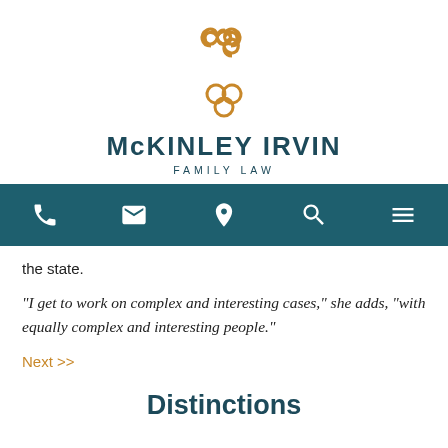[Figure (logo): McKinley Irvin Family Law logo with golden interlocking loops above the firm name]
McKINLEY IRVIN
FAMILY LAW
[Figure (infographic): Navigation bar with phone, email, location, search, and menu icons on teal background]
the state.
"I get to work on complex and interesting cases," she adds, “with equally complex and interesting people."
Next >>
Distinctions